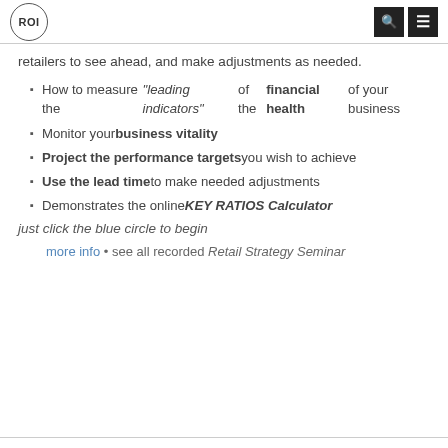ROI
retailers to see ahead, and make adjustments as needed.
How to measure the "leading indicators" of the financial health of your business
Monitor your business vitality
Project the performance targets you wish to achieve
Use the lead time to make needed adjustments
Demonstrates the online KEY RATIOS Calculator
just click the blue circle to begin
more info • see all recorded Retail Strategy Seminar